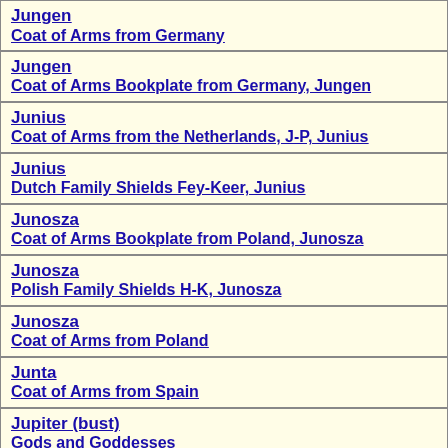Jungen
Coat of Arms from Germany
Jungen
Coat of Arms Bookplate from Germany, Jungen
Junius
Coat of Arms from the Netherlands, J-P, Junius
Junius
Dutch Family Shields Fey-Keer, Junius
Junosza
Coat of Arms Bookplate from Poland, Junosza
Junosza
Polish Family Shields H-K, Junosza
Junosza
Coat of Arms from Poland
Junta
Coat of Arms from Spain
Jupiter (bust)
Gods and Goddesses